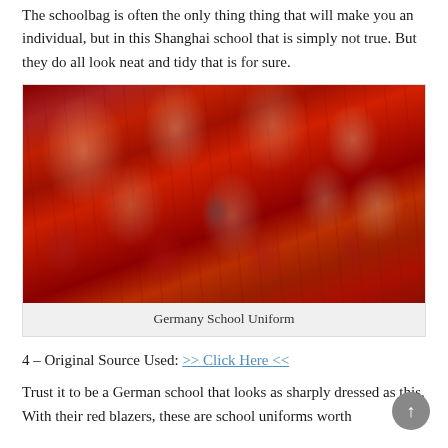The schoolbag is often the only thing thing that will make you an individual, but in this Shanghai school that is simply not true. But they do all look neat and tidy that is for sure.
[Figure (photo): A large group of children wearing matching red school blazers and striped ties, crowded together outdoors.]
Germany School Uniform
4 – Original Source Used: >> Click Here <<
Trust it to be a German school that looks as sharply dressed as this. With their red blazers, these are school uniforms worth taking a look at, that is for sure.